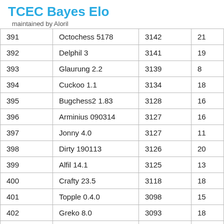TCEC Bayes Elo
maintained by Aloril
| # | Engine | Elo |  |
| --- | --- | --- | --- |
| 391 | Octochess 5178 | 3142 | 21 |
| 392 | Delphil 3 | 3141 | 19 |
| 393 | Glaurung 2.2 | 3139 | 8 |
| 394 | Cuckoo 1.1 | 3134 | 18 |
| 395 | Bugchess2 1.83 | 3128 | 16 |
| 396 | Arminius 090314 | 3127 | 16 |
| 397 | Jonny 4.0 | 3127 | 11 |
| 398 | Dirty 190113 | 3126 | 20 |
| 399 | Alfil 14.1 | 3125 | 13 |
| 400 | Crafty 23.5 | 3118 | 18 |
| 401 | Topple 0.4.0 | 3098 | 15 |
| 402 | Greko 8.0 | 3093 | 18 |
| 403 | Glaurung 2.2 JA/2.2 | 3091 | 5 |
| 404 | Delphil 3.2 | 3089 | 20 |